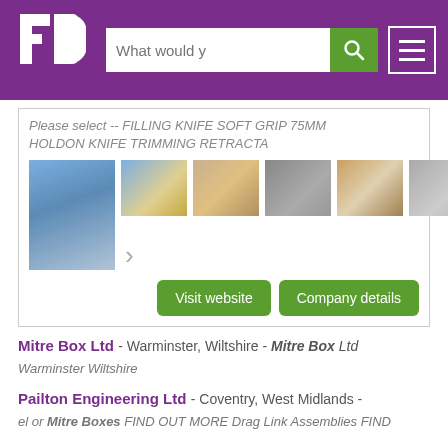[Figure (screenshot): Website header with purple background, FD logo on left, search bar with 'What would y' placeholder text and green search button, hamburger menu icon on right]
Please select -- FILLING KNIFE SOFT GRIP 75MM HOLDON KNIFE TRIMMING RETRACTA
[Figure (photo): Product listing with 5 thumbnail images showing building materials/blocks, main image on left showing blocks with blue sky background, 4 smaller thumbnails on right showing materials and concrete blocks, with a right arrow navigation button]
Visit website   Company details
Mitre Box Ltd - Warminster, Wiltshire - Mitre Box Ltd Warminster Wiltshire
Pailton Engineering Ltd - Coventry, West Midlands - el or Mitre Boxes FIND OUT MORE Drag Link Assemblies FIND